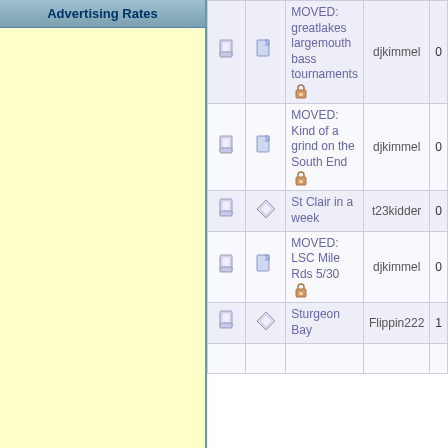Advertising Rates
|  |  | Topic | Author | Replies |
| --- | --- | --- | --- | --- |
| [icon] | [moved-icon] | MOVED: greatlakes largemouth bass tournaments [lock] | djkimmel | 0 |
| [icon] | [moved-icon] | MOVED: Kind of a grind on the South End [lock] | djkimmel | 0 |
| [icon] | [diamond-icon] | St Clair in a week | t23kidder | 0 |
| [icon] | [moved-icon] | MOVED: LSC Mile Rds 5/30 [lock] | djkimmel | 0 |
| [icon] | [diamond-icon] | Sturgeon Bay | Flippin222 | 1 |